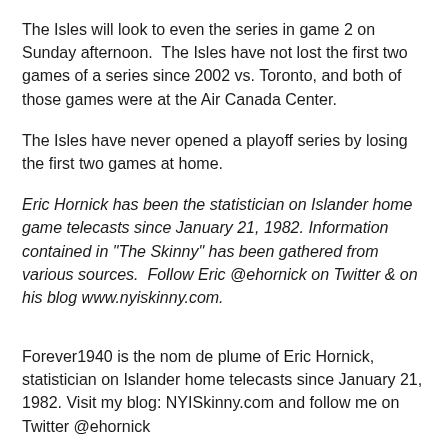The Isles will look to even the series in game 2 on Sunday afternoon.  The Isles have not lost the first two games of a series since 2002 vs. Toronto, and both of those games were at the Air Canada Center.
The Isles have never opened a playoff series by losing the first two games at home.
Eric Hornick has been the statistician on Islander home game telecasts since January 21, 1982. Information contained in "The Skinny" has been gathered from various sources.  Follow Eric @ehornick on Twitter & on his blog www.nyiskinny.com.
Forever1940 is the nom de plume of Eric Hornick, statistician on Islander home telecasts since January 21, 1982. Visit my blog: NYISkinny.com and follow me on Twitter @ehornick